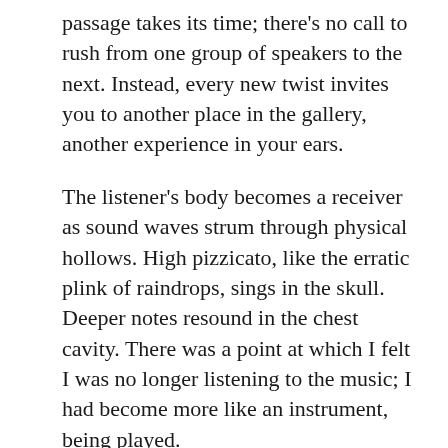passage takes its time; there's no call to rush from one group of speakers to the next. Instead, every new twist invites you to another place in the gallery, another experience in your ears.
The listener's body becomes a receiver as sound waves strum through physical hollows. High pizzicato, like the erratic plink of raindrops, sings in the skull. Deeper notes resound in the chest cavity. There was a point at which I felt I was no longer listening to the music; I had become more like an instrument, being played.
Bird's composition is about pleasure, not challenge or conflict. There are moments of tension — the beat beneath a casual whistle picks up, and the mood turns martial — but he's clearly more intrigued here with the visceral and spatial possibilities of sound and its textures than he is in a linear musical narrative. At one